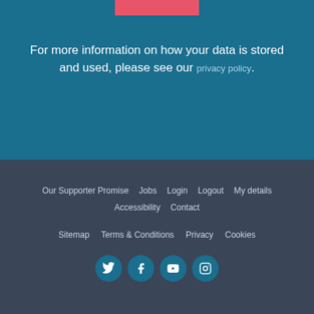[Figure (other): Pink/salmon colored horizontal bar at the top]
For more information on how your data is stored and used, please see our privacy policy.
Our Supporter Promise  Jobs  Login  Logout  My details  Accessibility  Contact
Sitemap  Terms & Conditions  Privacy  Cookies
[Figure (other): Social media icons: Twitter, Facebook, YouTube, Instagram in teal circles]